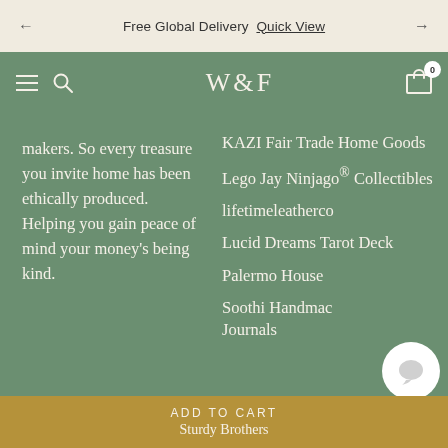Free Global Delivery  Quick View
W&F  0
makers. So every treasure you invite home has been ethically produced. Helping you gain peace of mind your money's being kind.
KAZI Fair Trade Home Goods
Lego Jay Ninjago® Collectibles
lifetimeleatherco
Lucid Dreams Tarot Deck
Palermo House
Soothi Handmac Journals
ADD TO CART
Sturdy Brothers